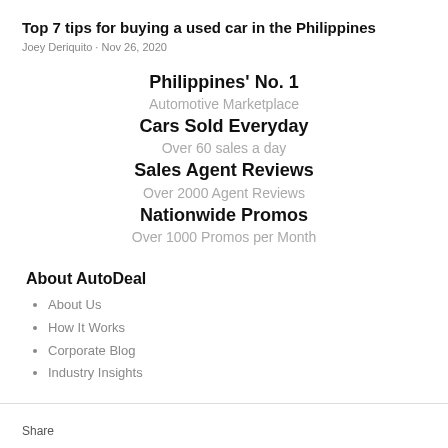Top 7 tips for buying a used car in the Philippines
Joey Deriquito · Nov 26, 2020
[Figure (infographic): AutoDeal promotional infographic block: Philippines' No. 1 Automotive Marketplace, Cars Sold Everyday Over 60 sales a day, Sales Agent Reviews Over 2000 Agent Reviews, Nationwide Promos Over 1000 Promos per Month]
About AutoDeal
About Us
How It Works
Corporate Blog
Industry Insights
Share